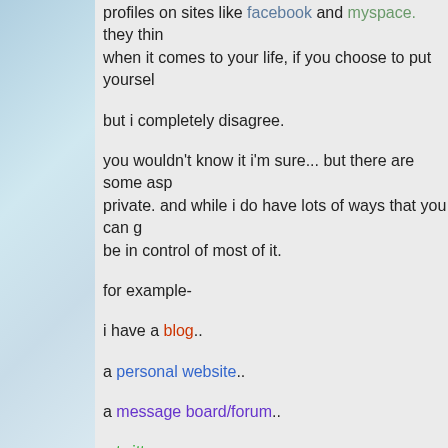profiles on sites like facebook and myspace. they thin when it comes to your life, if you choose to put yoursel
but i completely disagree.
you wouldn't know it i'm sure... but there are some asp private. and while i do have lots of ways that you can g be in control of most of it.
for example-
i have a blog..
a personal website..
a message board/forum..
a twitter..
a flickr..